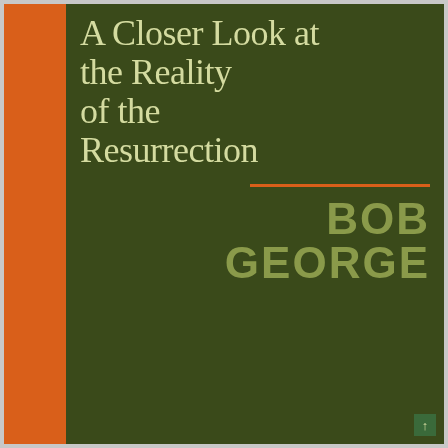[Figure (illustration): Book cover with orange left bar, dark green background, cream/light green serif title text reading 'A Closer Look at the Reality of the Resurrection', an orange horizontal divider line, and bold olive-colored author name 'BOB GEORGE' in bottom right, with a small green badge with upward arrow in bottom right corner.]